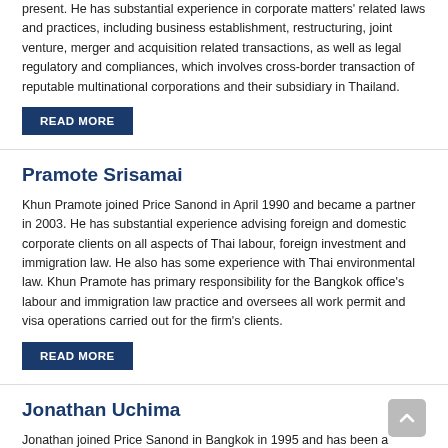present. He has substantial experience in corporate matters' related laws and practices, including business establishment, restructuring, joint venture, merger and acquisition related transactions, as well as legal regulatory and compliances, which involves cross-border transaction of reputable multinational corporations and their subsidiary in Thailand.
READ MORE
Pramote Srisamai
Khun Pramote joined Price Sanond in April 1990 and became a partner in 2003. He has substantial experience advising foreign and domestic corporate clients on all aspects of Thai labour, foreign investment and immigration law. He also has some experience with Thai environmental law. Khun Pramote has primary responsibility for the Bangkok office's labour and immigration law practice and oversees all work permit and visa operations carried out for the firm's clients.
READ MORE
Jonathan Uchima
Jonathan joined Price Sanond in Bangkok in 1995 and has been a partner